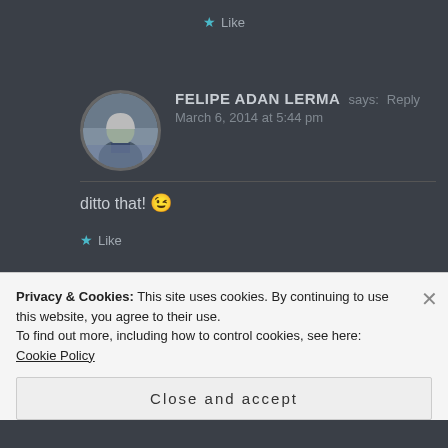★ Like
FELIPE ADAN LERMA says: Reply
March 6, 2014 at 5:44 pm
ditto that! 😉
★ Like
Privacy & Cookies: This site uses cookies. By continuing to use this website, you agree to their use.
To find out more, including how to control cookies, see here: Cookie Policy
Close and accept